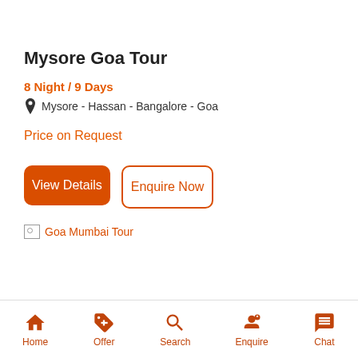Mysore Goa Tour
8 Night / 9 Days
Mysore - Hassan - Bangalore - Goa
Price on Request
View Details
Enquire Now
[Figure (other): Broken image placeholder labeled 'Goa Mumbai Tour']
Home   Offer   Search   Enquire   Chat